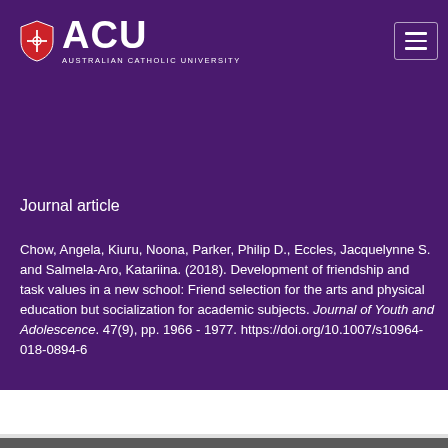ACU - Australian Catholic University
Journal article
Chow, Angela, Kiuru, Noona, Parker, Philip D., Eccles, Jacquelynne S. and Salmela-Aro, Katariina. (2018). Development of friendship and task values in a new school: Friend selection for the arts and physical education but socialization for academic subjects. Journal of Youth and Adolescence. 47(9), pp. 1966 - 1977. https://doi.org/10.1007/s10964-018-0894-6